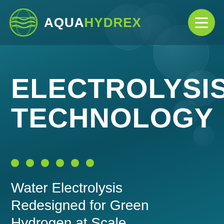[Figure (logo): AquaHydrex logo: green sphere icon with horizontal wave lines, followed by text AQUAHYDREX in white and green]
ELECTROLYSIS TECHNOLOGY
Water Electrolysis Redesigned for Green Hydrogen at Scale